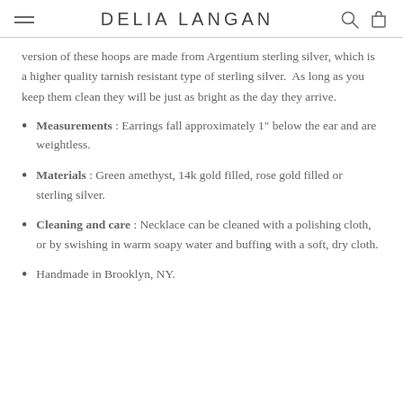DELIA LANGAN
version of these hoops are made from Argentium sterling silver, which is a higher quality tarnish resistant type of sterling silver.  As long as you keep them clean they will be just as bright as the day they arrive.
Measurements : Earrings fall approximately 1" below the ear and are weightless.
Materials : Green amethyst, 14k gold filled, rose gold filled or sterling silver.
Cleaning and care : Necklace can be cleaned with a polishing cloth, or by swishing in warm soapy water and buffing with a soft, dry cloth.
Handmade in Brooklyn, NY.